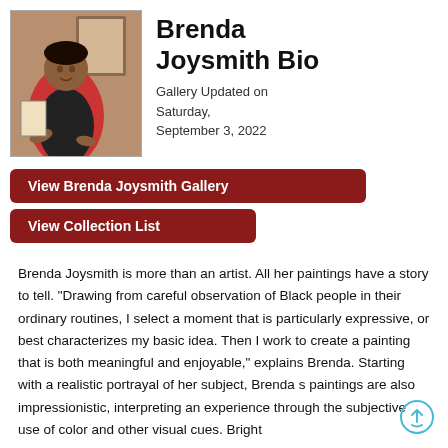[Figure (photo): Photo of Brenda Joysmith, a woman in a red top and black apron, working at an art easel]
Brenda Joysmith Bio
Gallery Updated on Saturday, September 3, 2022
View Brenda Joysmith Gallery
View Collection List
Brenda Joysmith is more than an artist. All her paintings have a story to tell. "Drawing from careful observation of Black people in their ordinary routines, I select a moment that is particularly expressive, or best characterizes my basic idea. Then I work to create a painting that is both meaningful and enjoyable," explains Brenda. Starting with a realistic portrayal of her subject, Brenda s paintings are also impressionistic, interpreting an experience through the subjective use of color and other visual cues. Bright